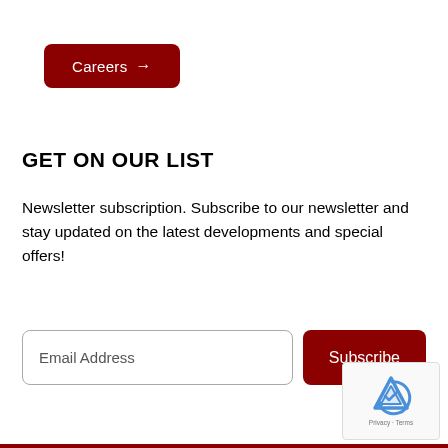[Figure (other): Dark red rounded button labeled 'Careers →']
GET ON OUR LIST
Newsletter subscription. Subscribe to our newsletter and stay updated on the latest developments and special offers!
[Figure (other): Email address input field and Subscribe button form]
[Figure (other): reCAPTCHA widget showing logo and Privacy · Terms text]